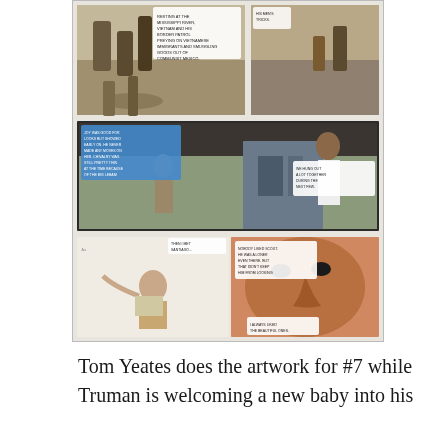[Figure (illustration): Photograph of an open comic book showing multiple panels. Top panels depict military/action scenes with soldiers and figures in a Vietnam-era setting with speech bubbles. Middle panel shows two figures in conversation near a building. Bottom panels show a woman gesturing and a close-up of a man's face with speech bubbles.]
Tom Yeates does the artwork for #7 while Truman is welcoming a new baby into his